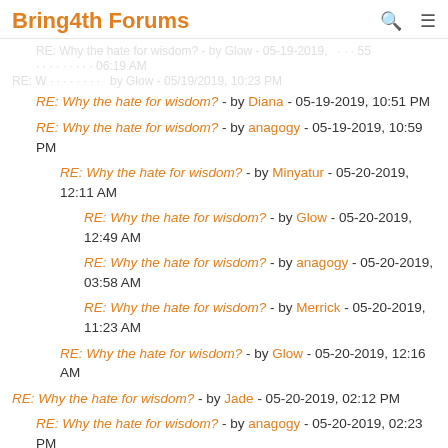Bring4th Forums
RE: Why the hate for wisdom? - by Diana - 05-19-2019, 10:51 PM
RE: Why the hate for wisdom? - by anagogy - 05-19-2019, 10:59 PM
RE: Why the hate for wisdom? - by Minyatur - 05-20-2019, 12:11 AM
RE: Why the hate for wisdom? - by Glow - 05-20-2019, 12:49 AM
RE: Why the hate for wisdom? - by anagogy - 05-20-2019, 03:58 AM
RE: Why the hate for wisdom? - by Merrick - 05-20-2019, 11:23 AM
RE: Why the hate for wisdom? - by Glow - 05-20-2019, 12:16 AM
RE: Why the hate for wisdom? - by Jade - 05-20-2019, 02:12 PM
RE: Why the hate for wisdom? - by anagogy - 05-20-2019, 02:23 PM
RE: Why the hate for wisdom? - by Jade - 05-20-2019, 02:50 PM